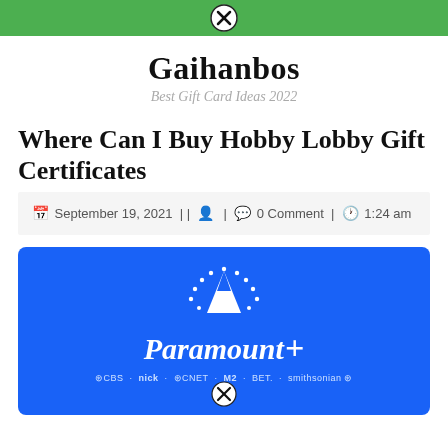Navigation bar (green) with close button
Gaihanbos
Best Gift Card Ideas 2022
Where Can I Buy Hobby Lobby Gift Certificates
September 19, 2021 | | [user icon] | [comment icon] 0 Comment | [clock icon] 1:24 am
[Figure (photo): Paramount+ blue promotional card with mountain logo, stars arc, and network logos (CBS, Nick, CNET, MTV, BET) on blue background]